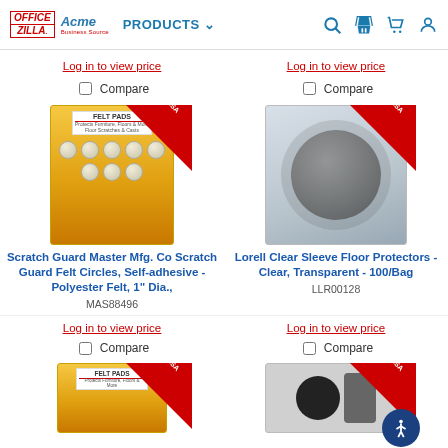OfficeZilla Acme - PRODUCTS navigation header
Log in to view price
Compare
[Figure (photo): Scratch Guard Felt Pads product image with Made in the USA badge]
Scratch Guard Master Mfg. Co Scratch Guard Felt Circles, Self-adhesive - Polyester Felt, 1" Dia.,
MAS88496
Log in to view price
Compare
[Figure (photo): Lorell Clear Sleeve Floor Protectors product image with Made in the USA badge]
Lorell Clear Sleeve Floor Protectors - Clear, Transparent - 100/Bag
LLR00128
Log in to view price
Compare
[Figure (photo): Second Felt Pads product image with Made in the USA badge]
Log in to view price
Compare
[Figure (photo): Floor protectors product image with Made in the USA badge and accessibility button]